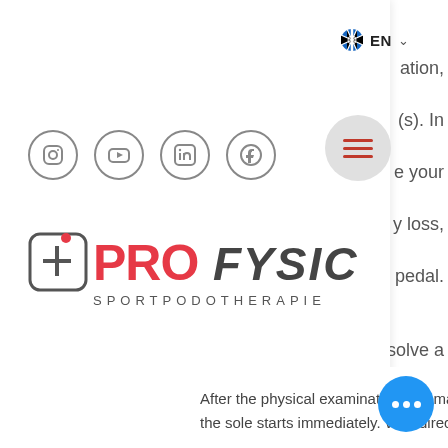[Figure (logo): ProFysic Sportpodotherapie logo with social media icons (Instagram, YouTube, LinkedIn, Facebook) and language selector EN with hamburger menu button]
prices
Locations
About us
Contact
Call me for an appointment!
Zoeken
After the physical examination, the mak... the sole starts immediately. With directions
...ation, ...(s). In ...e your ...y loss, ...r pedal. ...solve a ...e ...ysical ...ick, ...on will ...n